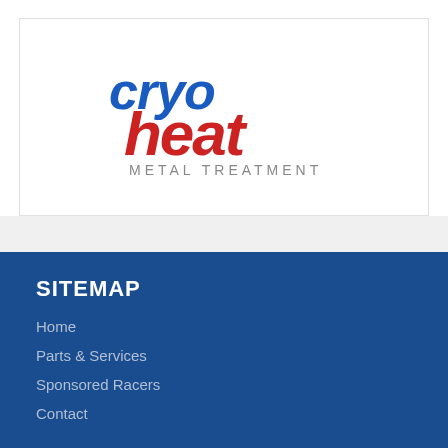[Figure (logo): CryoHeat Metal Treatment logo — stylized blue 'cryo' text above red 'heat' text, with 'METAL TREATMENT' in gray below]
SITEMAP
Home
Parts & Services
Sponsored Racers
Contact
RACING & FAN RESOURCES
CryoHeat Metal Treatment